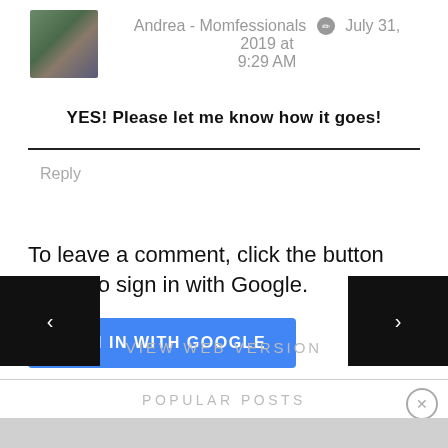Andrea - Momfessionals  July 31, 2019 at 9:29 AM
YES! Please let me know how it goes!
Reply
To leave a comment, click the button below to sign in with Google.
SIGN IN WITH GOOGLE
VIEW WEB VERSION
POPULAR POSTS